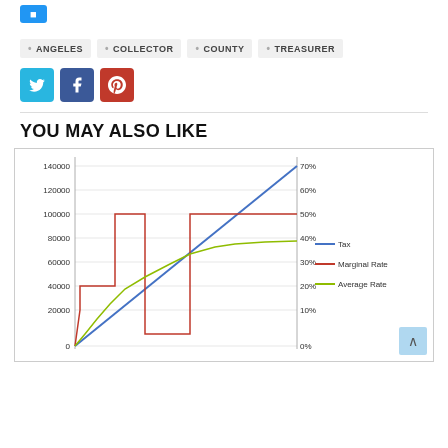ANGELES
COLLECTOR
COUNTY
TREASURER
[Figure (infographic): Social share buttons: Twitter (blue), Facebook (dark blue), Pinterest (red)]
YOU MAY ALSO LIKE
[Figure (line-chart): ]